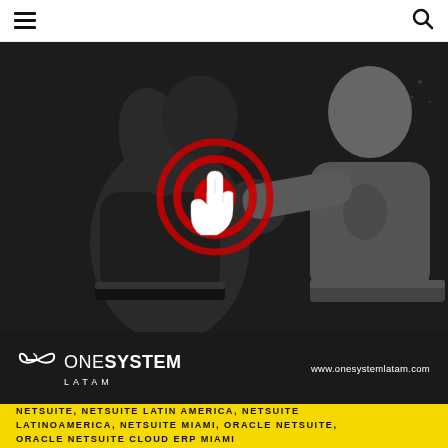Menu | Search
[Figure (photo): Black and white photo of two boxers fighting. One boxer is being punched with a red circular target/click icon with a pointing hand cursor overlaid on the impact point. One boxer wears Adidas gloves.]
[Figure (logo): OneSystem Latam logo with infinity-like symbol, white on black background, with URL www.onesystemlatam.com]
NETSUITE, NETSUITE LATIN AMERICA, NETSUITE LATINOAMERICA, NETSUITE MIAMI, ORACLE NETSUITE, ORACLE NETSUITE CLOUD ERP MIAMI